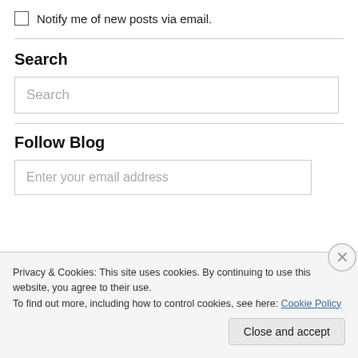Notify me of new posts via email.
Search
[Figure (screenshot): Search input box with placeholder text 'Search']
Follow Blog
[Figure (screenshot): Email input box with placeholder text 'Enter your email address']
Privacy & Cookies: This site uses cookies. By continuing to use this website, you agree to their use.
To find out more, including how to control cookies, see here: Cookie Policy
Close and accept